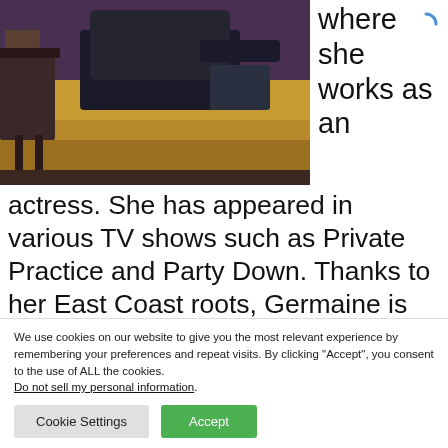[Figure (photo): A person seated on a tan/mustard sofa in a room with purple walls and a side table, photo cropped at top portion]
where she works as an actress. She has appeared in various TV shows such as Private Practice and Party Down. Thanks to her East Coast roots, Germaine is an avid classic hip-hop fan. She also enjoys hiking in her spare time,
We use cookies on our website to give you the most relevant experience by remembering your preferences and repeat visits. By clicking “Accept”, you consent to the use of ALL the cookies. Do not sell my personal information.